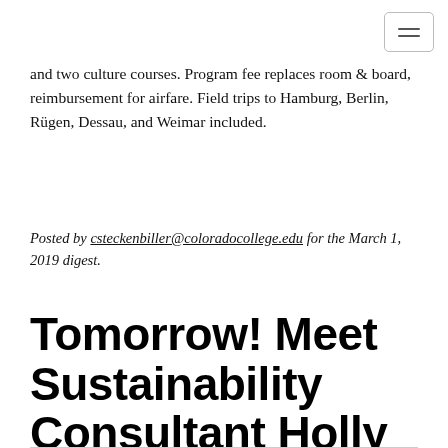and two culture courses. Program fee replaces room & board, reimbursement for airfare. Field trips to Hamburg, Berlin, Rügen, Dessau, and Weimar included.
Posted by csteckenbiller@coloradocollege.edu for the March 1, 2019 digest.
Tomorrow! Meet Sustainability Consultant Holly Moynahan